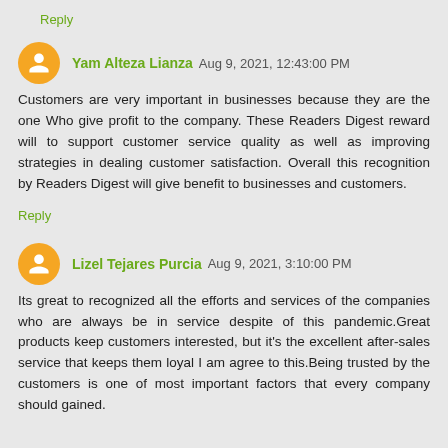Reply
Yam Alteza Lianza  Aug 9, 2021, 12:43:00 PM
Customers are very important in businesses because they are the one Who give profit to the company. These Readers Digest reward will to support customer service quality as well as improving strategies in dealing customer satisfaction. Overall this recognition by Readers Digest will give benefit to businesses and customers.
Reply
Lizel Tejares Purcia  Aug 9, 2021, 3:10:00 PM
Its great to recognized all the efforts and services of the companies who are always be in service despite of this pandemic.Great products keep customers interested, but it's the excellent after-sales service that keeps them loyal I am agree to this.Being trusted by the customers is one of most important factors that every company should gained.